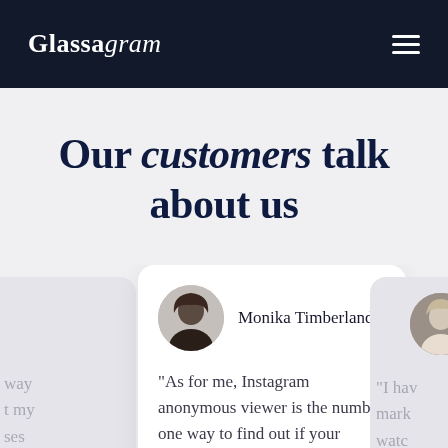Glassagram
Our customers talk about us
Monika Timberland — "As for me, Instagram anonymous viewer is the number one way to find out if your spouse is cheating on you. I was in such a..."